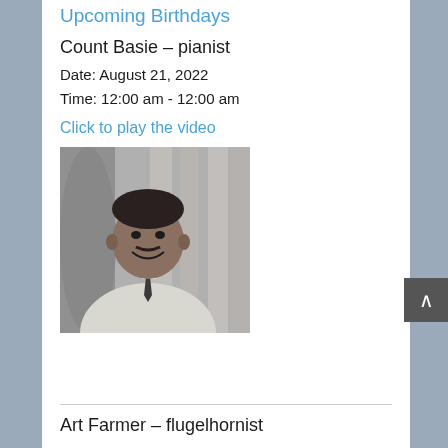Upcoming Birthdays
Count Basie – pianist
Date: August 21, 2022
Time: 12:00 am - 12:00 am
Click to play the video
[Figure (photo): Black and white portrait photo of Count Basie, a man in a light suit and dark tie, smiling, with columns visible in the background.]
Art Farmer – flugelhornist